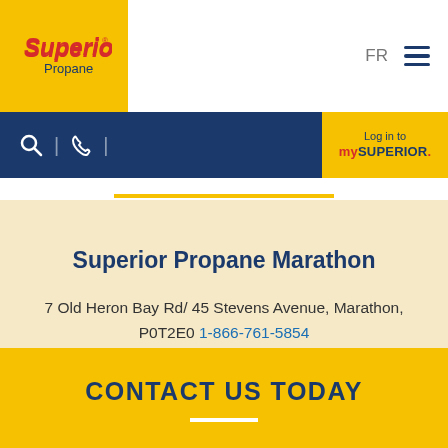[Figure (logo): Superior Propane logo — red 'Superior' text with yellow background and 'Propane' in smaller text below]
FR ≡
[Figure (infographic): Blue navigation bar with search icon, phone icon, and 'Log in to mySUPERIOR' yellow button]
Superior Propane Marathon
7 Old Heron Bay Rd/ 45 Stevens Avenue, Marathon, P0T2E0  1-866-761-5854
CONTACT US TODAY